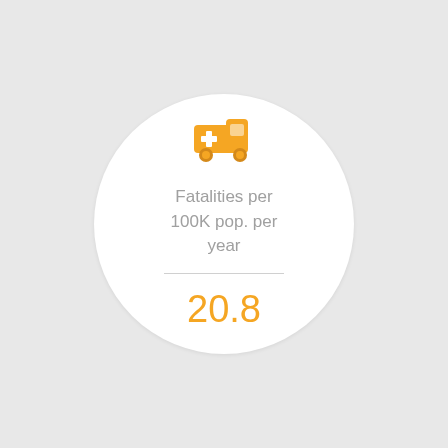[Figure (infographic): A circular white card containing an orange ambulance/emergency vehicle icon at the top, the text 'Fatalities per 100K pop. per year', a horizontal divider line, and the value '20.8' in orange large text.]